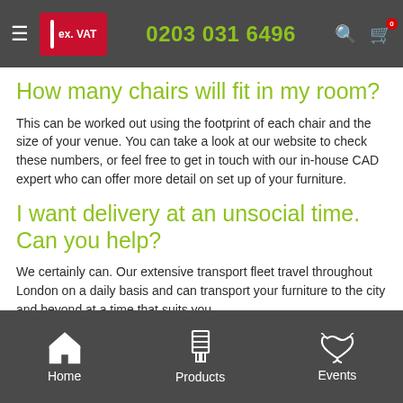ex. VAT | 0203 031 6496
How many chairs will fit in my room?
This can be worked out using the footprint of each chair and the size of your venue. You can take a look at our website to check these numbers, or feel free to get in touch with our in-house CAD expert who can offer more detail on set up of your furniture.
I want delivery at an unsocial time. Can you help?
We certainly can. Our extensive transport fleet travel throughout London on a daily basis and can transport your furniture to the city and beyond at a time that suits you.
Home | Products | Events